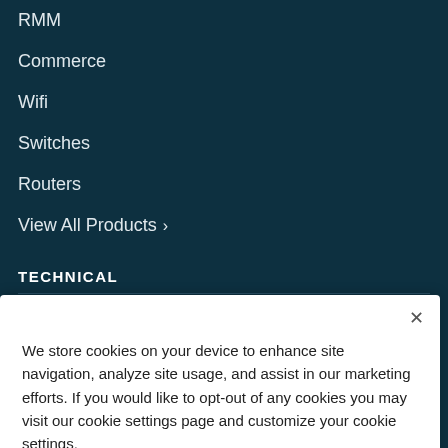RMM
Commerce
Wifi
Switches
Routers
View All Products ›
TECHNICAL
We store cookies on your device to enhance site navigation, analyze site usage, and assist in our marketing efforts. If you would like to opt-out of any cookies you may visit our cookie settings page and customize your cookie settings.
Cookies Settings